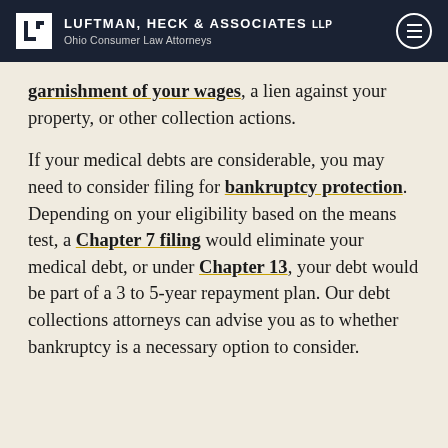Luftman, Heck & Associates LLP — Ohio Consumer Law Attorneys
garnishment of your wages, a lien against your property, or other collection actions.
If your medical debts are considerable, you may need to consider filing for bankruptcy protection. Depending on your eligibility based on the means test, a Chapter 7 filing would eliminate your medical debt, or under Chapter 13, your debt would be part of a 3 to 5-year repayment plan. Our debt collections attorneys can advise you as to whether bankruptcy is a necessary option to consider.